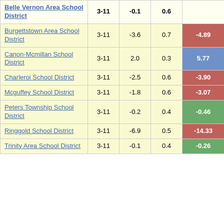| District | Grades | Col3 | Col4 | Score |
| --- | --- | --- | --- | --- |
| Belle Vernon Area School District | 3-11 | -0.1 | 0.6 | -0.10 |
| Burgettstown Area School District | 3-11 | -3.6 | 0.7 | -4.89 |
| Canon-Mcmillan School District | 3-11 | 2.0 | 0.3 | 5.77 |
| Charleroi School District | 3-11 | -2.5 | 0.6 | -3.90 |
| Mcguffey School District | 3-11 | -1.8 | 0.6 | -3.07 |
| Peters Township School District | 3-11 | -0.2 | 0.4 | -0.46 |
| Ringgold School District | 3-11 | -6.9 | 0.5 | -14.33 |
| Trinity Area School District | 3-11 | -0.1 | 0.4 | -0.26 |